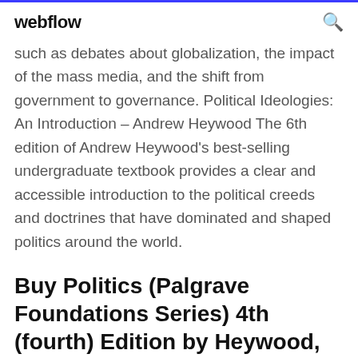webflow
such as debates about globalization, the impact of the mass media, and the shift from government to governance. Political Ideologies: An Introduction – Andrew Heywood The 6th edition of Andrew Heywood's best-selling undergraduate textbook provides a clear and accessible introduction to the political creeds and doctrines that have dominated and shaped politics around the world.
Buy Politics (Palgrave Foundations Series) 4th (fourth) Edition by Heywood, Andrew published by Palgrave Macmillan